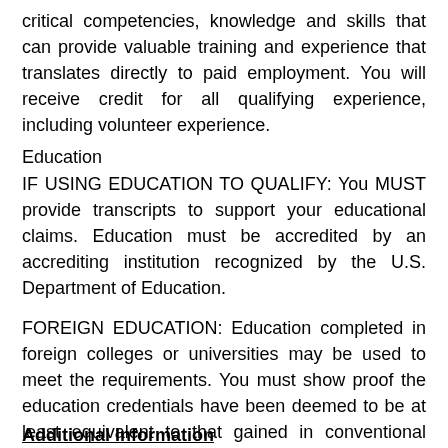critical competencies, knowledge and skills that can provide valuable training and experience that translates directly to paid employment. You will receive credit for all qualifying experience, including volunteer experience.
Education
IF USING EDUCATION TO QUALIFY: You MUST provide transcripts to support your educational claims. Education must be accredited by an accrediting institution recognized by the U.S. Department of Education.
FOREIGN EDUCATION: Education completed in foreign colleges or universities may be used to meet the requirements. You must show proof the education credentials have been deemed to be at least equivalent to that gained in conventional U.S. education program. It is your responsibility to provide such evidence when applying.
Additional Information